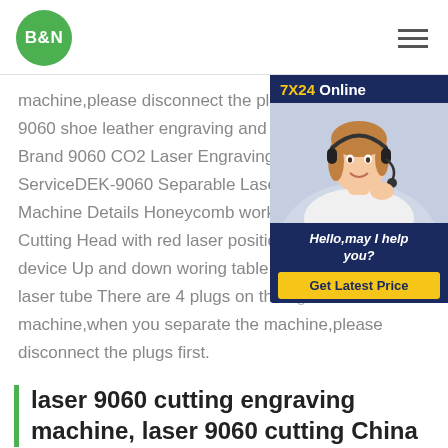B&N
machine,please disconnect the plugs first. 9060 shoe leather engraving and cutting Brand 9060 CO2 Laser Engraving Cutting ServiceDEK-9060 Separable Laser Engraving Machine Details Honeycomb working table Cutting Head with red laser positioner device Up and down woring table Beijing laser tube There are 4 plugs on the right of the machine,when you separate the machine,please disconnect the plugs first.
[Figure (other): Customer service chat widget with 7X24 Online heading, photo of a woman with headset, Hello,may I help you? text, and Get Latest Price button]
laser 9060 cutting engraving machine, laser 9060 cutting China